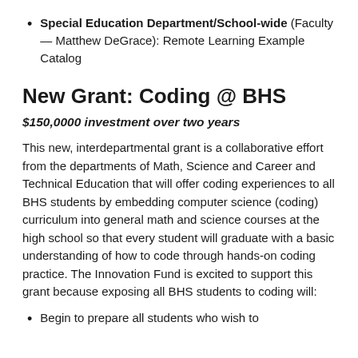Special Education Department/School-wide (Faculty — Matthew DeGrace): Remote Learning Example Catalog
New Grant: Coding @ BHS
$150,0000 investment over two years
This new, interdepartmental grant is a collaborative effort from the departments of Math, Science and Career and Technical Education that will offer coding experiences to all BHS students by embedding computer science (coding) curriculum into general math and science courses at the high school so that every student will graduate with a basic understanding of how to code through hands-on coding practice. The Innovation Fund is excited to support this grant because exposing all BHS students to coding will:
Begin to prepare all students who wish to